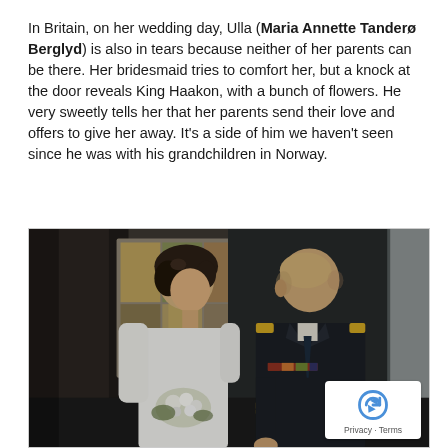In Britain, on her wedding day, Ulla (Maria Annette Tanderø Berglyd) is also in tears because neither of her parents can be there. Her bridesmaid tries to comfort her, but a knock at the door reveals King Haakon, with a bunch of flowers. He very sweetly tells her that her parents send their love and offers to give her away. It's a side of him we haven't seen since he was with his grandchildren in Norway.
[Figure (photo): A woman in a white wedding dress holding flowers looks up at a man in a dark naval uniform with medals and gold braid, inside what appears to be a church with stained glass windows visible in the background. A reCAPTCHA privacy badge is visible in the bottom right corner.]